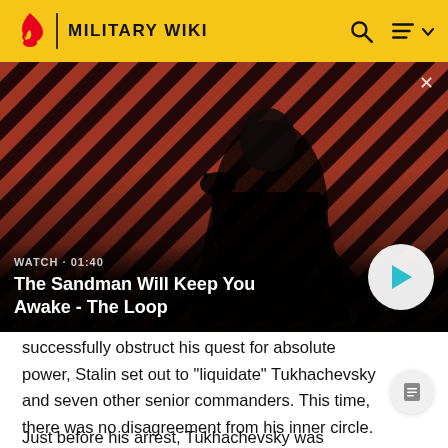MILITARY WIKI
[Figure (screenshot): Video thumbnail showing a dark-cloaked figure with a raven on shoulder against a red/brown diagonal striped background. Overlay shows 'WATCH · 01:40' and title 'The Sandman Will Keep You Awake - The Loop' with a circular play button on the right.]
successfully obstruct his quest for absolute power, Stalin set out to "liquidate" Tukhachevsky and seven other senior commanders. This time, there was no disagreement from his inner circle.
Just before his arrest, Tukhachevsky was relieved of duty